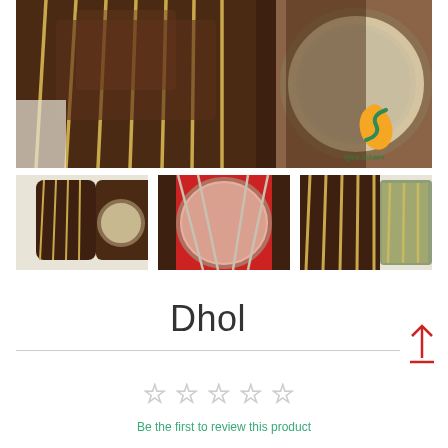[Figure (photo): Large close-up photo of a Dhol drum (traditional Indian percussion instrument) showing the dark wooden body with rope/cord strapping and the drum head, placed on white cloth. A logo in bottom-right corner shows an orange/green Surana Collections branding.]
[Figure (photo): Thumbnail 1: Side view of two dhol drums on white cloth background.]
[Figure (photo): Thumbnail 2: Front face view of dhol drum showing pink/peach drum head on red background.]
[Figure (photo): Thumbnail 3: Close-up of dhol drum body showing rope strapping detail.]
Dhol
Be the first to review this product
★★★★★ (empty stars rating)